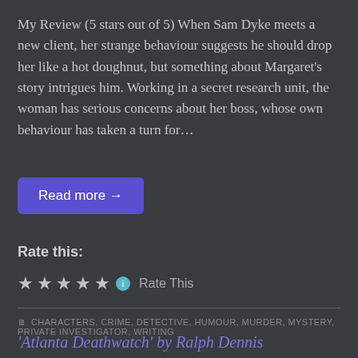My Review (5 stars out of 5) When Sam Dyke meets a new client, her strange behaviour suggests he should drop her like a hot doughnut, but something about Margaret's story intrigues him. Working in a secret research unit, the woman has serious concerns about her boss, whose own behaviour has taken a turn for…
Read more →
Rate this:
★★★★★ Rate This
CHARACTERS, CRIME, DETECTIVE, HUMOUR, MURDER, MYSTERY, PRIVATE INVESTIGATOR, WRITING
'Atlanta Deathwatch' by Ralph Dennis